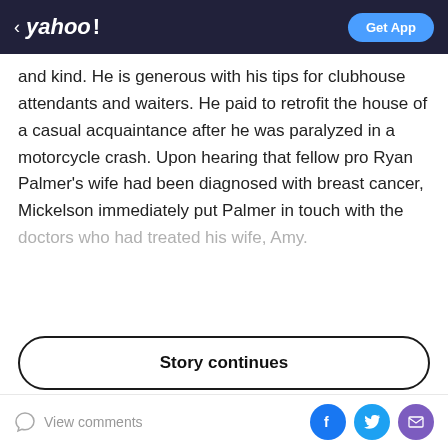< yahoo! | Get App
and kind. He is generous with his tips for clubhouse attendants and waiters. He paid to retrofit the house of a casual acquaintance after he was paralyzed in a motorcycle crash. Upon hearing that fellow pro Ryan Palmer's wife had been diagnosed with breast cancer, Mickelson immediately put Palmer in touch with the doctors who had treated his wife, Amy.
Story continues
ADVERTISEMENT
[Figure (photo): Advertisement image showing a person in a car]
View comments | Facebook | Twitter | Email